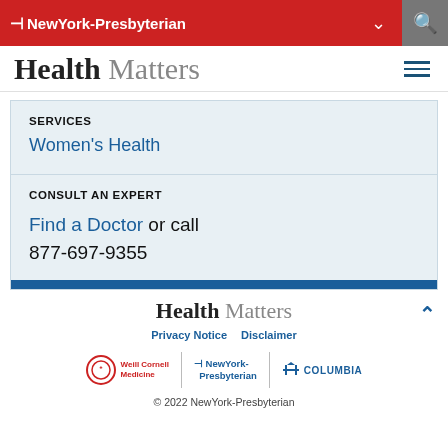NewYork-Presbyterian
Health Matters
SERVICES
Women's Health
CONSULT AN EXPERT
Find a Doctor or call 877-697-9355
Health Matters | Privacy Notice | Disclaimer | Weill Cornell Medicine | NewYork-Presbyterian | Columbia | © 2022 NewYork-Presbyterian